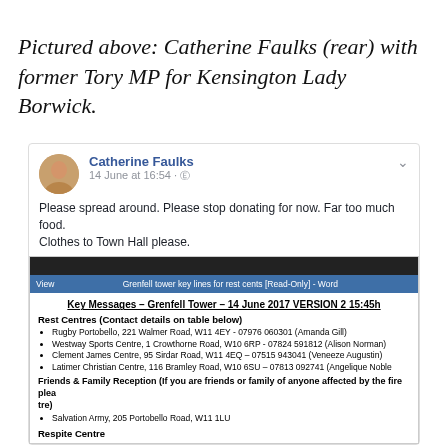Pictured above: Catherine Faulks (rear) with former Tory MP for Kensington Lady Borwick.
[Figure (screenshot): Screenshot of a Facebook post by Catherine Faulks dated 14 June at 16:54, containing a message asking people to stop donating food and directing clothes to Town Hall. Below is an embedded screenshot of a Word document titled 'Key Messages – Grenfell Tower – 14 June 2017 VERSION 2 15:45h' listing rest centres, contact details, and a Friends & Family Reception section.]